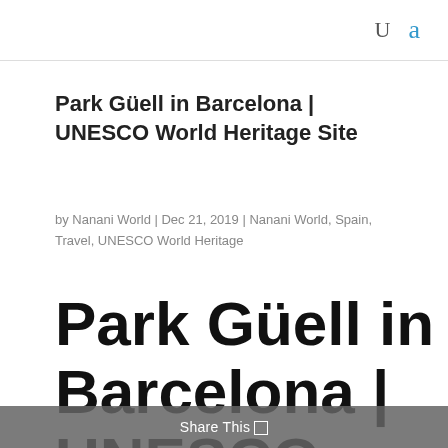U  a
Park Güell in Barcelona | UNESCO World Heritage Site
by Nanani World | Dec 21, 2019 | Nanani World, Spain, Travel, UNESCO World Heritage
Park Güell in Barcelona | UNESCO World Heritage Site
Share This